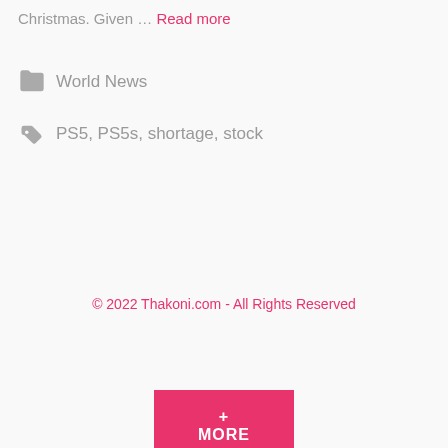Christmas. Given … Read more
World News
PS5, PS5s, shortage, stock
+ MORE
© 2022 Thakoni.com - All Rights Reserved